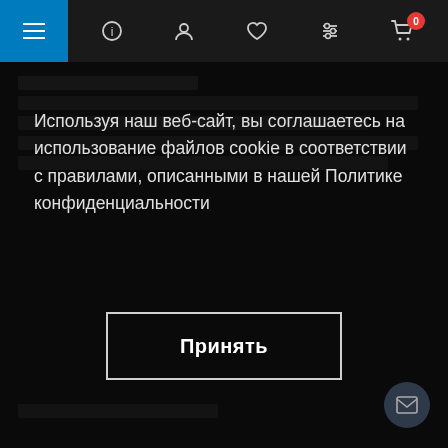[Figure (screenshot): Website navigation bar with hamburger menu button (blue background), info icon, user icon, heart/wishlist icon, filter icon, and shopping cart icon with badge showing 0]
Используя наш веб-сайт, вы соглашаетесь на использование файлов cookie в соответствии с правилами, описанными в нашей Политике конфиденциальности
Принять